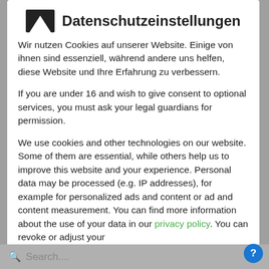Datenschutzeinstellungen
Wir nutzen Cookies auf unserer Website. Einige von ihnen sind essenziell, während andere uns helfen, diese Website und Ihre Erfahrung zu verbessern.
If you are under 16 and wish to give consent to optional services, you must ask your legal guardians for permission.
We use cookies and other technologies on our website. Some of them are essential, while others help us to improve this website and your experience. Personal data may be processed (e.g. IP addresses), for example for personalized ads and content or ad and content measurement. You can find more information about the use of your data in our privacy policy. You can revoke or adjust your
Essenziell
Statistiken
Alle akzeptieren
Search....